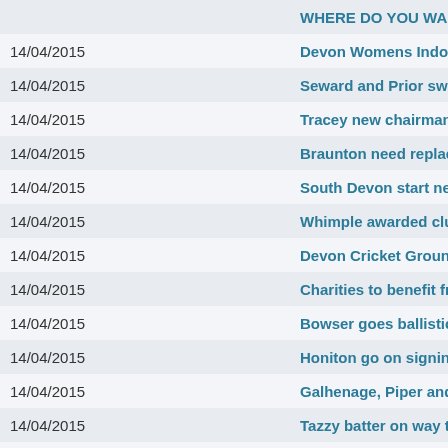| Date | Title |
| --- | --- |
|  | WHERE DO YOU WAR... |
| 14/04/2015 | Devon Womens Indoor... |
| 14/04/2015 | Seward and Prior switc... |
| 14/04/2015 | Tracey new chairman a... |
| 14/04/2015 | Braunton need replace... |
| 14/04/2015 | South Devon start net p... |
| 14/04/2015 | Whimple awarded club... |
| 14/04/2015 | Devon Cricket Grounds... |
| 14/04/2015 | Charities to benefit fro... |
| 14/04/2015 | Bowser goes ballistic! |
| 14/04/2015 | Honiton go on signing ... |
| 14/04/2015 | Galhenage, Piper and S... |
| 14/04/2015 | Tazzy batter on way to ... |
| 14/04/2015 | South African pacer me... |
| 14/04/2015 |  |